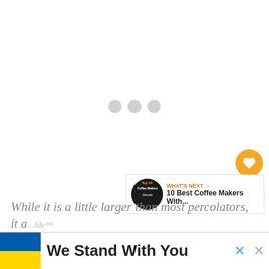[Figure (screenshot): Loading screen with three gray dots indicating content loading in progress]
[Figure (other): Orange circular favorite/heart button]
[Figure (other): White circular share button with share icon]
[Figure (other): WHAT'S NEXT widget showing '10 Best Coffee Makers With...' with a thumbnail image]
While it is a little larger than most percolators, it a...lde™
[Figure (other): Banner with Ukrainian flag colors (blue and yellow) with text 'We Stand With You' and close buttons]